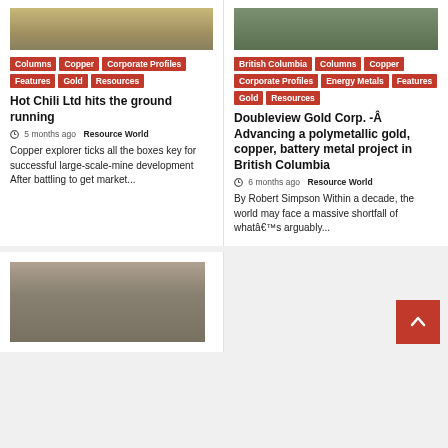[Figure (photo): Aerial/ground photo of mining site, left column top]
Columns | Copper | Corporate Profiles | Features | Gold | Resources
Hot Chili Ltd hits the ground running
5 months ago  Resource World
Copper explorer ticks all the boxes key for successful large-scale-mine development After battling to get market...
[Figure (photo): Aerial/ground photo of mining site, right column top]
British Columbia | Columns | Copper | Corporate Profiles | Energy Metals | Features | Gold | Resources
Doubleview Gold Corp. -Â Advancing a polymetallic gold, copper, battery metal project in British Columbia
6 months ago  Resource World
By Robert Simpson Within a decade, the world may face a massive shortfall of whatâ€™s arguably...
[Figure (photo): Photo of worker with yellow hard hat, bottom left column]